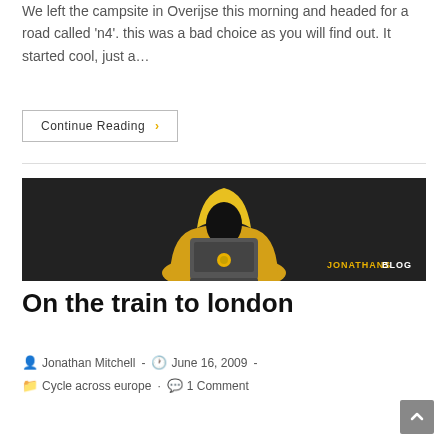We left the campsite in Overijse this morning and headed for a road called 'n4'. this was a bad choice as you will find out. It started cool, just a…
Continue Reading ›
[Figure (illustration): Dark background blog header image showing a hooded figure (yellow hoodie) with a grey laptop, with text 'JONATHANSBLOG' in the lower right corner.]
On the train to london
Jonathan Mitchell  -  June 16, 2009  -
Cycle across europe  ·  1 Comment